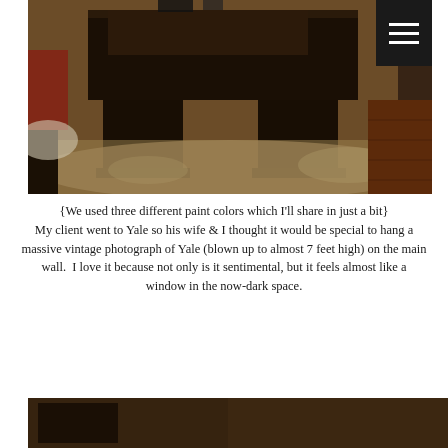[Figure (photo): Interior photo of a dark wood executive desk on a patterned area rug in a home office, with chairs visible in the background. A dark menu/hamburger icon appears in the top-right corner.]
{We used three different paint colors which I'll share in just a bit}
My client went to Yale so his wife & I thought it would be special to hang a massive vintage photograph of Yale (blown up to almost 7 feet high) on the main wall.  I love it because not only is it sentimental, but it feels almost like a window in the now-dark space.
[Figure (photo): Partial photo visible at the bottom of the page showing a dark interior scene.]